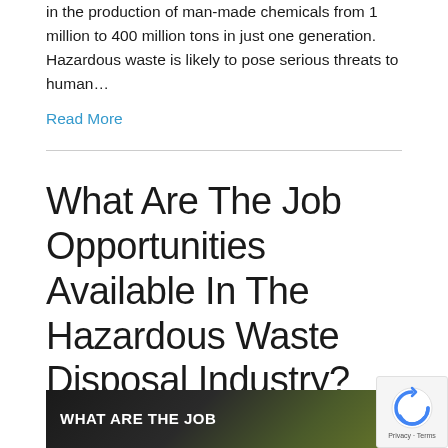in the production of man-made chemicals from 1 million to 400 million tons in just one generation. Hazardous waste is likely to pose serious threats to human…
Read More
What Are The Job Opportunities Available In The Hazardous Waste Disposal Industry?
July 30, 2020
[Figure (photo): Article thumbnail image showing a worker in protective gear with text overlay 'WHAT ARE THE JOB']